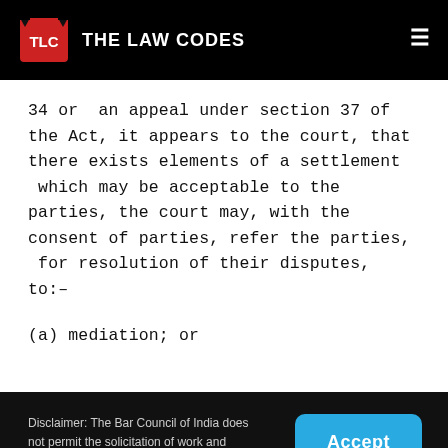THE LAW CODES
34 or  an appeal under section 37 of the Act, it appears to the court, that there exists elements of a settlement  which may be acceptable to the parties, the court may, with the consent of parties, refer the parties,  for resolution of their disputes, to:–
(a) mediation; or
Disclaimer: The Bar Council of India does not permit the solicitation of work and advertising by legal practitioners and advocates. By accessing The Law Codes website, the user acknowledges that: Read More